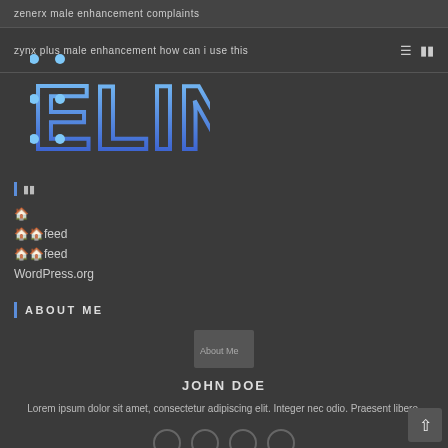zenerx male enhancement complaints
zynx plus male enhancement how can i use this
[Figure (logo): ELINK logo in blue network/chain style letters on dark background]
🏠 📋
📋
🏠
🔗 feed
💬 feed
WordPress.org
ABOUT ME
[Figure (photo): About Me profile image placeholder]
JOHN DOE
Lorem ipsum dolor sit amet, consectetur adipiscing elit. Integer nec odio. Praesent libero.